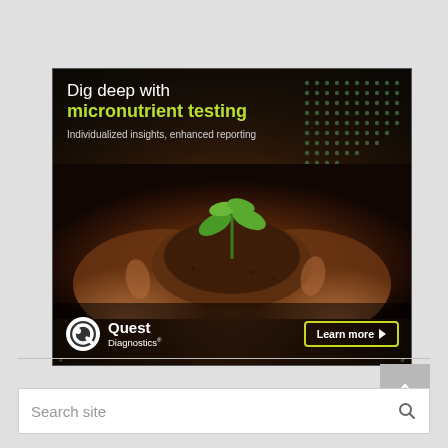[Figure (illustration): Quest Diagnostics advertisement for micronutrient testing. Shows hands cupping soil with a green plant seedling. Text reads: 'Dig deep with micronutrient testing — Individualized insights, enhanced reporting'. Quest Diagnostics logo bottom left. 'Learn more' button bottom right. Dotted pattern in top right corner.]
Search site